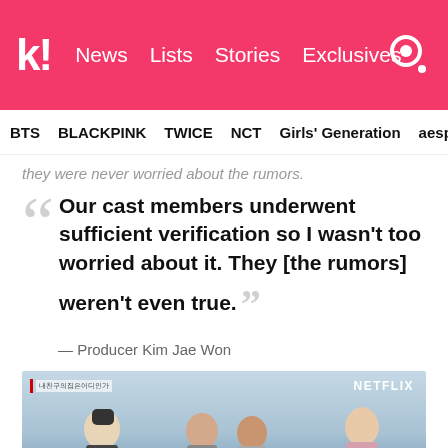k! News  Lists  Stories  Exclusives
BTS  BLACKPINK  TWICE  NCT  Girls' Generation  aespa
they were never worried about the rumors.
Our cast members underwent sufficient verification so I wasn't too worried about it. They [the rumors] weren't even true.
— Producer Kim Jae Won
[Figure (photo): Screenshot from a Netflix show showing several young people outdoors against a grey sky, with a Netflix badge in top right]